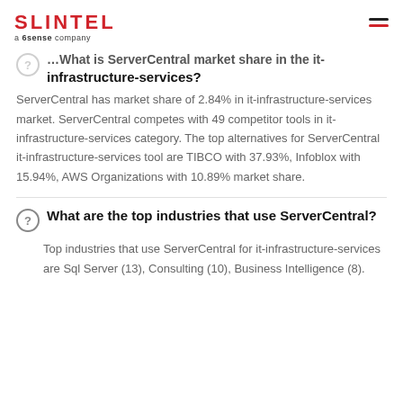SLINTEL a 6sense company
What is ServerCentral market share in the it-infrastructure-services?
ServerCentral has market share of 2.84% in it-infrastructure-services market. ServerCentral competes with 49 competitor tools in it-infrastructure-services category. The top alternatives for ServerCentral it-infrastructure-services tool are TIBCO with 37.93%, Infoblox with 15.94%, AWS Organizations with 10.89% market share.
What are the top industries that use ServerCentral?
Top industries that use ServerCentral for it-infrastructure-services are Sql Server (13), Consulting (10), Business Intelligence (8).